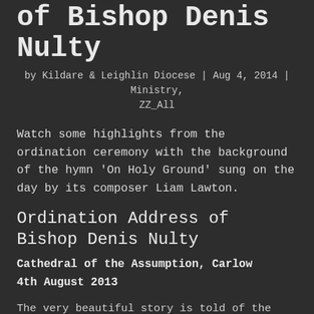of Bishop Denis Nulty
by Kildare & Leighlin Diocese | Aug 4, 2014 | Ministry, ZZ_All
Watch some highlights from the ordination ceremony with the background of the hymn 'On Holy Ground' sung on the day by its composer Liam Lawton.
Ordination Address of Bishop Denis Nulty
Cathedral of the Assumption, Carlow
4th August 2013
The very beautiful story is told of the Curé of Ars,